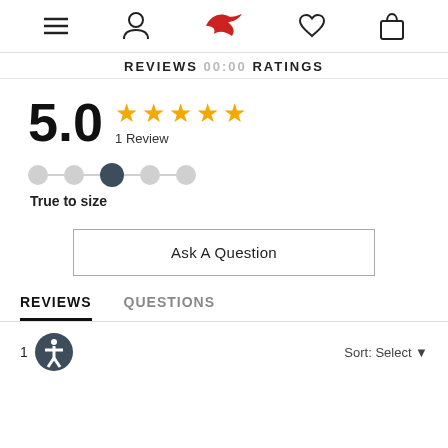Navigation bar with menu, user, logo (bird), heart, and bag icons
REVIEWS 00:00 RATINGS
5.0 ★★★★★ 1 Review
True to size
Ask A Question
REVIEWS   QUESTIONS
1   Sort: Select